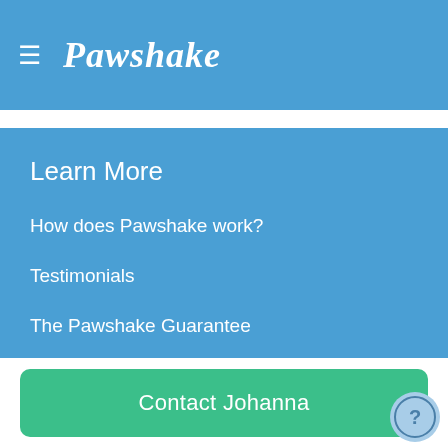≡ Pawshake
Learn More
How does Pawshake work?
Testimonials
The Pawshake Guarantee
Payments and refunds
Contact Johanna